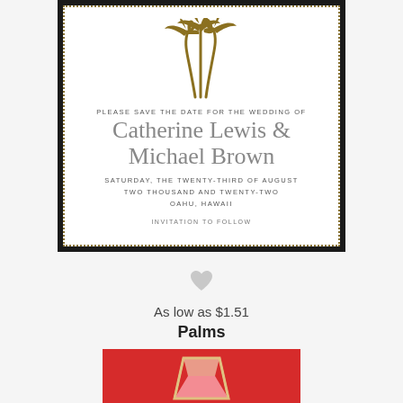[Figure (illustration): Wedding save-the-date card with gold palm trees illustration at top, dotted border in gold on white background with black outer border. Text reads: Please save the date for the wedding of / Catherine Lewis & Michael Brown / Saturday, the twenty-third of August / two thousand and twenty-two / Oahu, Hawaii / Invitation to follow]
[Figure (illustration): Small gray heart icon]
As low as $1.51
Palms
[Figure (illustration): Partial view of another card with red background showing a drink glass illustration]